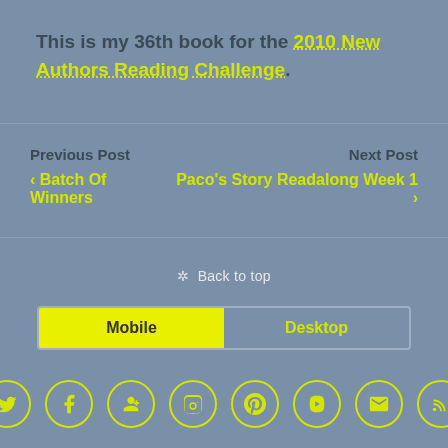This is my 36th book for the 2010 New Authors Reading Challenge.
Previous Post
‹ Batch Of Winners
Next Post
Paco's Story Readalong Week 1 ›
✲ Back to top
Mobile | Desktop
[Figure (other): Social media icon buttons: Twitter, Facebook, Google+, Instagram, Pinterest, YouTube, Email, RSS]